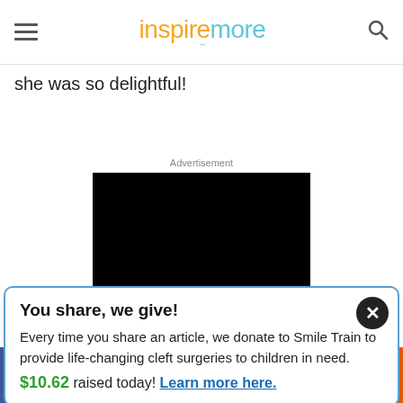inspiremore
she was so delightful!
Advertisement
[Figure (other): Black advertisement rectangle placeholder]
You share, we give! Every time you share an article, we donate to Smile Train to provide life-changing cleft surgeries to children in need. $10.62 raised today! Learn more here.
Facebook, Twitter, Pinterest, Reddit, Email, More share buttons